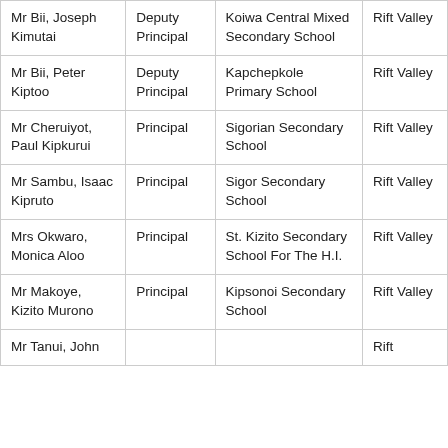| Mr Bii, Joseph Kimutai | Deputy Principal | Koiwa Central Mixed Secondary School | Rift Valley |
| Mr Bii, Peter Kiptoo | Deputy Principal | Kapchepkole Primary School | Rift Valley |
| Mr Cheruiyot, Paul Kipkurui | Principal | Sigorian Secondary School | Rift Valley |
| Mr Sambu, Isaac Kipruto | Principal | Sigor Secondary School | Rift Valley |
| Mrs Okwaro, Monica Aloo | Principal | St. Kizito Secondary School For The H.I. | Rift Valley |
| Mr Makoye, Kizito Murono | Principal | Kipsonoi Secondary School | Rift Valley |
| Mr Tanui, John |  |  | Rift |